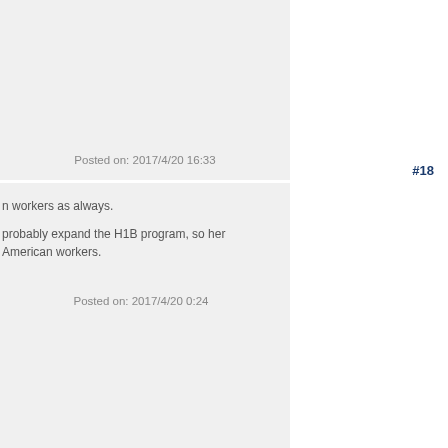Posted on: 2017/4/20 16:33
#18
n workers as always.
probably expand the H1B program, so her American workers.
Posted on: 2017/4/20 0:24